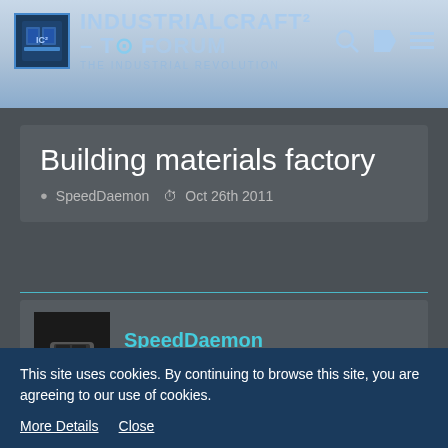IndustrialCraft² - The Forum · The Industrial Revolution
Building materials factory
SpeedDaemon  Oct 26th 2011
SpeedDaemon
Builder
Oct 26th 2011
This is a factory I put together on my prototyping/test map of a factory that produces building materials:
This site uses cookies. By continuing to browse this site, you are agreeing to our use of cookies.